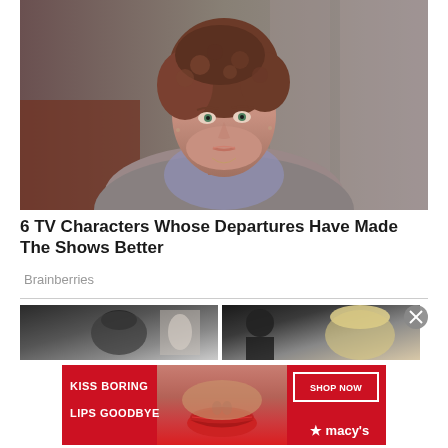[Figure (photo): A woman with short curly auburn hair wearing a grey sweater and lavender top, looking directly at camera against a blurred background]
6 TV Characters Whose Departures Have Made The Shows Better
Brainberries
[Figure (photo): Two thumbnail images side by side: left shows a woman with dark hair pulled up, right shows two people including a blonde woman]
[Figure (photo): Advertisement banner: KISS BORING LIPS GOODBYE - SHOP NOW - macy's, with a woman's face showing red lips]